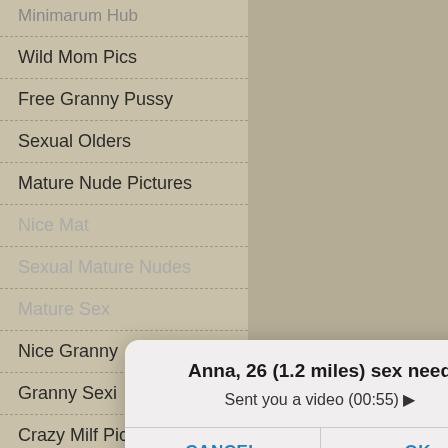Wild Mom Pics
Free Granny Pussy
Sexual Olders
Mature Nude Pictures
Nice Mature
Sexual Mature Nudes
Mature Sex
Nice Granny
Granny Sexi
Crazy Milf Pics
Mompornpicture.Com
Granny Pics
[Figure (screenshot): Mobile dialog popup with title 'Anna, 26 (1.2 miles) sex need', message 'Sent you a video (00:55) ▶', and buttons CANCEL and OK]